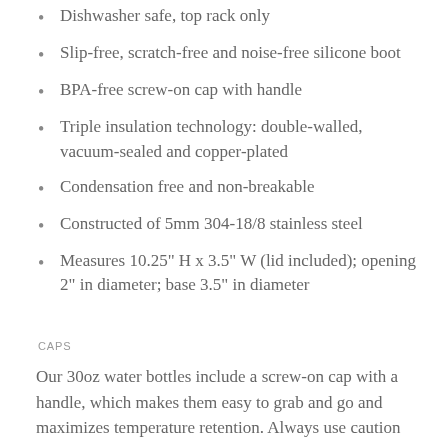Dishwasher safe, top rack only
Slip-free, scratch-free and noise-free silicone boot
BPA-free screw-on cap with handle
Triple insulation technology: double-walled, vacuum-sealed and copper-plated
Condensation free and non-breakable
Constructed of 5mm 304-18/8 stainless steel
Measures 10.25" H x 3.5" W (lid included); opening 2" in diameter; base 3.5" in diameter
CAPS
Our 30oz water bottles include a screw-on cap with a handle, which makes them easy to grab and go and maximizes temperature retention. Always use caution when the lid is being opened.